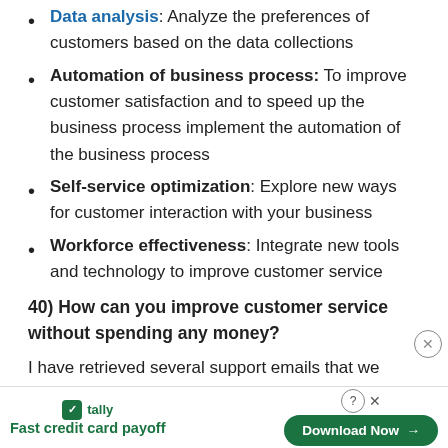Data analysis: Analyze the preferences of customers based on the data collections
Automation of business process: To improve customer satisfaction and to speed up the business process implement the automation of the business process
Self-service optimization: Explore new ways for customer interaction with your business
Workforce effectiveness: Integrate new tools and technology to improve customer service
40) How can you improve customer service without spending any money?
I have retrieved several support emails that we received from our clients and figured out that several questions were asked repetitively. I searched online